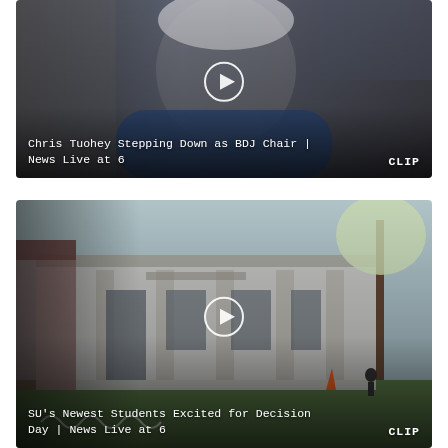[Figure (screenshot): Video thumbnail showing a middle-aged man with white hair and a blue jacket, with a play button overlay. Title: 'Chris Tuohey Stepping Down as BDJ Chair | News Live at 6'. Tag: CLIP.]
[Figure (screenshot): Video thumbnail showing a university building exterior with a tree and orange cone. Play button overlay. Title: 'SU's Newest Students Excited for Decision Day | News Live at 6'. Tag: CLIP.]